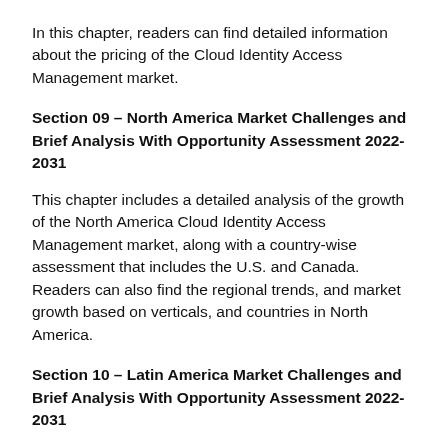In this chapter, readers can find detailed information about the pricing of the Cloud Identity Access Management market.
Section 09 – North America Market Challenges and Brief Analysis With Opportunity Assessment 2022-2031
This chapter includes a detailed analysis of the growth of the North America Cloud Identity Access Management market, along with a country-wise assessment that includes the U.S. and Canada. Readers can also find the regional trends, and market growth based on verticals, and countries in North America.
Section 10 – Latin America Market Challenges and Brief Analysis With Opportunity Assessment 2022-2031
This chapter provides the growth scenario of the Cloud